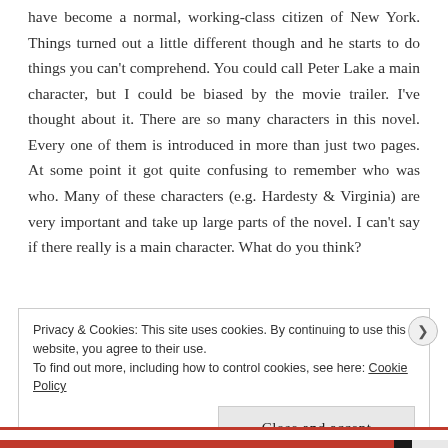have become a normal, working-class citizen of New York. Things turned out a little different though and he starts to do things you can't comprehend. You could call Peter Lake a main character, but I could be biased by the movie trailer. I've thought about it. There are so many characters in this novel. Every one of them is introduced in more than just two pages. At some point it got quite confusing to remember who was who. Many of these characters (e.g. Hardesty & Virginia) are very important and take up large parts of the novel. I can't say if there really is a main character. What do you think?
Privacy & Cookies: This site uses cookies. By continuing to use this website, you agree to their use.
To find out more, including how to control cookies, see here: Cookie Policy
Close and accept